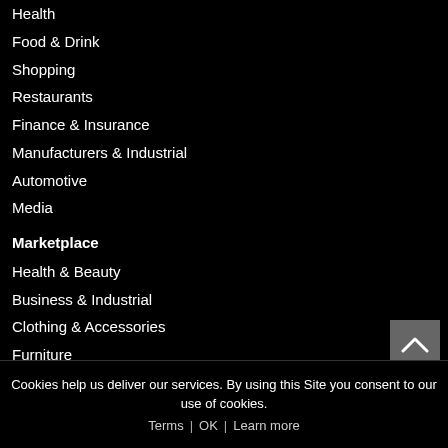Health
Food & Drink
Shopping
Restaurants
Finance & Insurance
Manufacturers & Industrial
Automotive
Media
Marketplace
Health & Beauty
Business & Industrial
Clothing & Accessories
Furniture
Electronics
Home & Garden
Vehicles & Parts
Hardware
Arts & Entertainment
Cookies help us deliver our services. By using this Site you consent to our use of cookies.
Terms | OK | Learn more